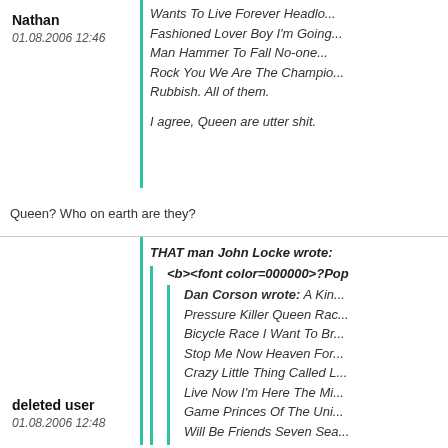Nathan
01.08.2006 12:46
Wants To Live Forever Headlo... Fashioned Lover Boy I'm Going... Man Hammer To Fall No-one... Rock You We Are The Champio... Rubbish. All of them.
I agree, Queen are utter shit.
Queen? Who on earth are they?
deleted user
01.08.2006 12:48
THAT man John Locke wrote:
<b><font color=000000>?Pop
Dan Corson wrote: A Kin... Pressure Killer Queen Rac... Bicycle Race I Want To Br... Stop Me Now Heaven For... Crazy Little Thing Called L... Live Now I'm Here The Mi... Game Princes Of The Uni... Will Be Friends Seven Sea... Are The Days Of Our Lives...